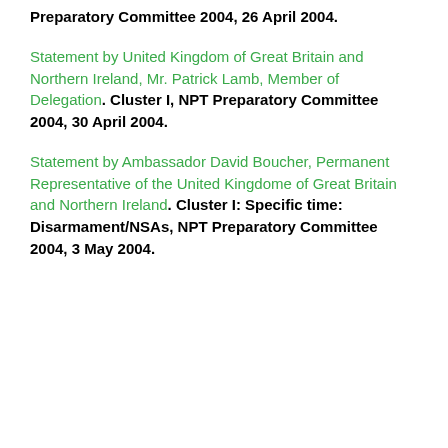Preparatory Committee 2004, 26 April 2004.
Statement by United Kingdom of Great Britain and Northern Ireland, Mr. Patrick Lamb, Member of Delegation. Cluster I, NPT Preparatory Committee 2004, 30 April 2004.
Statement by Ambassador David Boucher, Permanent Representative of the United Kingdome of Great Britain and Northern Ireland. Cluster I: Specific time: Disarmament/NSAs, NPT Preparatory Committee 2004, 3 May 2004.